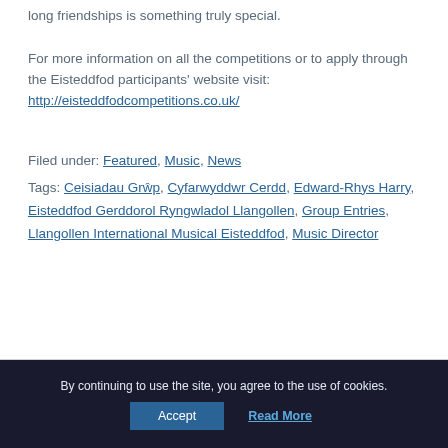long friendships is something truly special.
For more information on all the competitions or to apply through the Eisteddfod participants' website visit: http://eisteddfodcompetitions.co.uk/
Filed under: Featured, Music, News
Tags: Ceisiadau Grŵp, Cyfarwyddwr Cerdd, Edward-Rhys Harry, Eisteddfod Gerddorol Ryngwladol Llangollen, Group Entries, Llangollen International Musical Eisteddfod, Music Director
By continuing to use the site, you agree to the use of cookies.